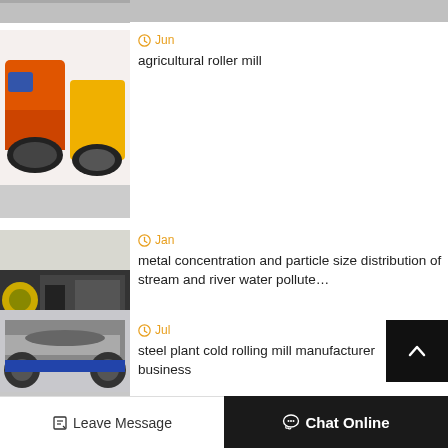[Figure (photo): Partial view of industrial machinery at top of page]
[Figure (photo): Orange and yellow agricultural roller mill machines in a factory]
Jun
agricultural roller mill
[Figure (photo): Large industrial metal concentration machine with yellow and black parts]
Jan
metal concentration and particle size distribution of stream and river water pollute…
[Figure (photo): Steel plant cold rolling mill industrial equipment on blue base]
Jul
steel plant cold rolling mill manufacturer business
[Figure (photo): Partial view of industrial machine at bottom]
Leave Message   Chat Online